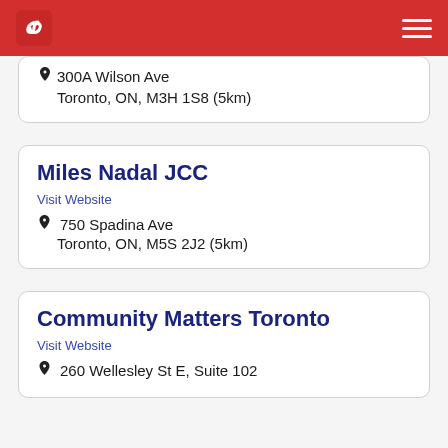300A Wilson Ave
Toronto, ON, M3H 1S8 (5km)
Miles Nadal JCC
Visit Website
750 Spadina Ave
Toronto, ON, M5S 2J2 (5km)
Community Matters Toronto
Visit Website
260 Wellesley St E, Suite 102